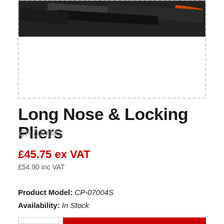[Figure (photo): Product photo of Long Nose & Locking Pliers set in dark packaging, showing tool handles against a dark background.]
Long Nose & Locking Pliers
CP-07004S
£45.75 ex VAT
£54.90 inc VAT
Product Model: CP-07004S
Availability: In Stock